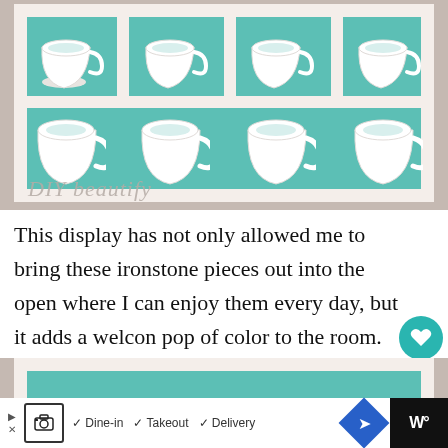[Figure (photo): A white wooden shelf unit with teal/mint painted interior, displaying two rows of white ironstone mugs/cups. Top row has 4 mugs, bottom row has 4 mugs. Watermark reads 'DIY beautify' in light gray italic text.]
This display has not only allowed me to bring these ironstone pieces out into the open where I can enjoy them every day, but it adds a welcome pop of color to the room.
[Figure (photo): Partial photo at bottom of page showing teal/mint shelving, partially cut off.]
Dine-in  Takeout  Delivery